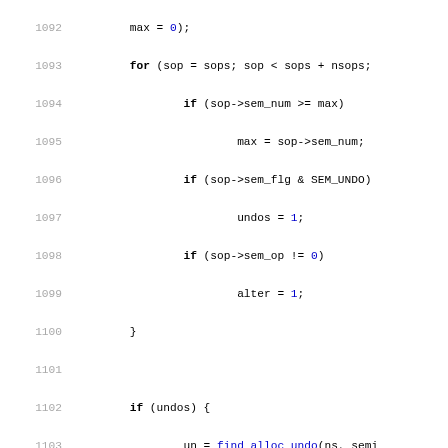[Figure (other): Source code listing in C, lines 1092-1122, showing semaphore operation logic including for loop, if-else conditions, find_alloc_undo, sem_lock_check, rcu_read_unlock calls, and a comment block about semid identifiers.]